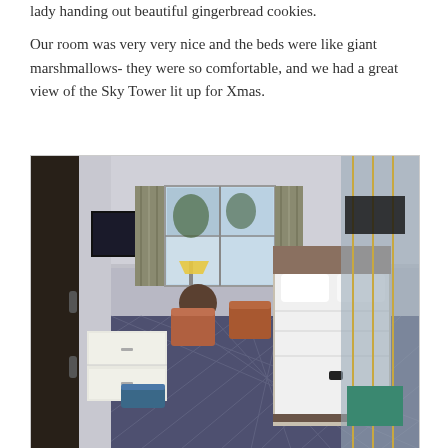lady handing out beautiful gingerbread cookies.
Our room was very very nice and the beds were like giant marshmallows- they were so comfortable, and we had a great view of the Sky Tower lit up for Xmas.
[Figure (photo): Interior photo of a hotel room showing two beds with white linens, a patterned carpet in navy/grey tones, orange/brown leather chairs, a round side table with a lamp, curtains over a large window, a white dresser unit, a wall-mounted TV on the left, and mirrored panels on the right side.]